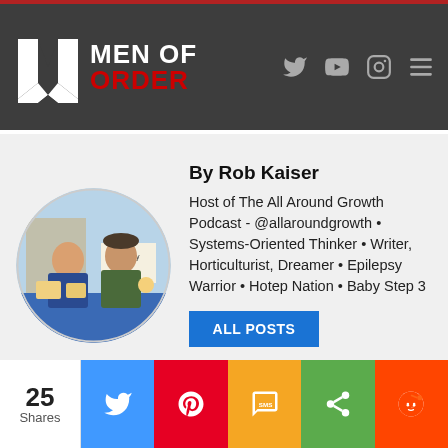[Figure (logo): Men of Order logo with white M icon and text MEN OF ORDER in white/red on dark grey header bar]
[Figure (photo): Author photo of Rob Kaiser, circular cropped image showing two men at a market stall with a blue tablecloth and sign reading Kraut Guy]
By Rob Kaiser
Host of The All Around Growth Podcast - @allaroundgrowth • Systems-Oriented Thinker • Writer, Horticulturist, Dreamer • Epilepsy Warrior • Hotep Nation • Baby Step 3
25 Shares